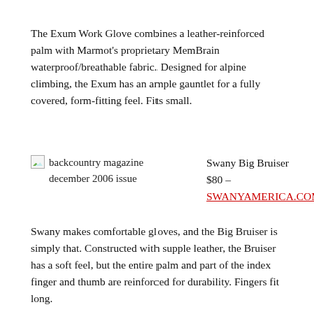The Exum Work Glove combines a leather-reinforced palm with Marmot's proprietary MemBrain waterproof/breathable fabric. Designed for alpine climbing, the Exum has an ample gauntlet for a fully covered, form-fitting feel. Fits small.
[Figure (other): Broken image thumbnail for backcountry magazine december 2006 issue]
backcountry magazine december 2006 issue
Swany Big Bruiser $80 – SWANYAMERICA.COM
Swany makes comfortable gloves, and the Big Bruiser is simply that. Constructed with supple leather, the Bruiser has a soft feel, but the entire palm and part of the index finger and thumb are reinforced for durability. Fingers fit long.